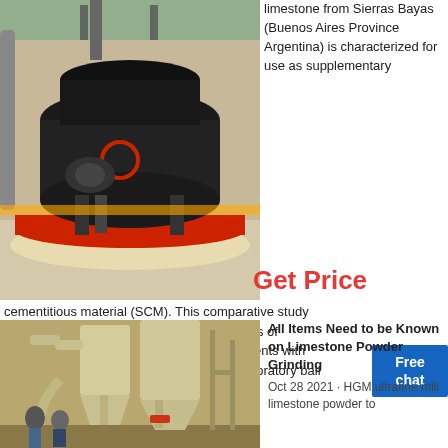[Figure (photo): Industrial grinding mill machine in a facility, large black cylindrical machine on a red base with sawdust on the floor]
limestone from Sierras Bayas (Buenos Aires Province Argentina) is characterized for use as supplementary
cementitious material (SCM). This comparative study with usual limestone filler includes the results of grindability and the performance of blended cements with 20% filler. Carbonate stones were ground in a laboratory ball mill to attain the objective (d50 < 4 μm). For
[Figure (infographic): Blue Free chat badge/button]
Get Price
[Figure (photo): Limestone powder grinding facility with large beige/cream colored industrial cyclone separators and pipes, workers visible]
All Items Need to be Known on Limestone Powder Grinding
Oct 28 2021 · HGM ultrafine mill limestone powder to